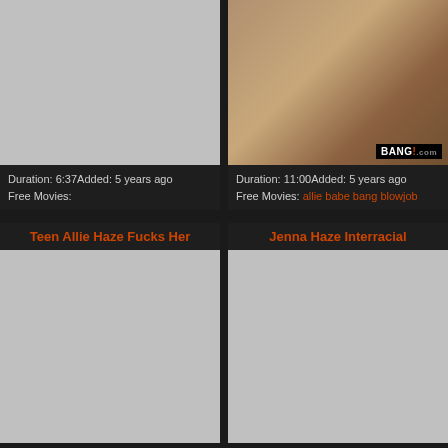[Figure (photo): Gray placeholder thumbnail for top-left video card]
Duration: 6:37Added: 5 years ago
Free Movies:
[Figure (photo): Video thumbnail showing two people, with BANG!.com logo overlay]
Duration: 11:00Added: 5 years ago
Free Movies: allie babe bang blowjob
Teen Allie Haze Fucks Her
Jenna Haze Interracial
[Figure (photo): Gray placeholder thumbnail for bottom-left video card]
[Figure (photo): Gray placeholder thumbnail for bottom-right video card]